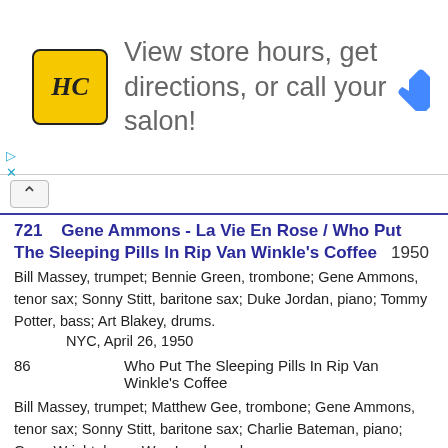[Figure (other): Advertisement banner: HC logo (yellow square with HC text), text 'View store hours, get directions, or call your salon!', blue diamond navigation arrow icon]
721   Gene Ammons - La Vie En Rose / Who Put The Sleeping Pills In Rip Van Winkle's Coffee   1950
Bill Massey, trumpet; Bennie Green, trombone; Gene Ammons, tenor sax; Sonny Stitt, baritone sax; Duke Jordan, piano; Tommy Potter, bass; Art Blakey, drums.
NYC, April 26, 1950
86          Who Put The Sleeping Pills In Rip Van Winkle's Coffee
Bill Massey, trumpet; Matthew Gee, trombone; Gene Ammons, tenor sax; Sonny Stitt, baritone sax; Charlie Bateman, piano; Gene Wright, bass; Wes Landers, drums.
NYC, July 27, 1950
102        La Vie En Rose
722   Sonny Stitt - Sonnyside / Taking A Chance On Love